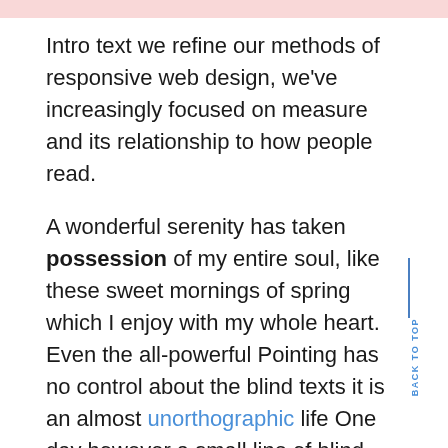Intro text we refine our methods of responsive web design, we’ve increasingly focused on measure and its relationship to how people read.
A wonderful serenity has taken possession of my entire soul, like these sweet mornings of spring which I enjoy with my whole heart. Even the all-powerful Pointing has no control about the blind texts it is an almost unorthographic life One day however a small line of blind text by the name of Lorem Ipsum decided to leave for the far World of Grammar. The Big Oxmox advised her not to do so, because there were thousands of bad Commas, wild Question Marks and devious Semikoli, but the